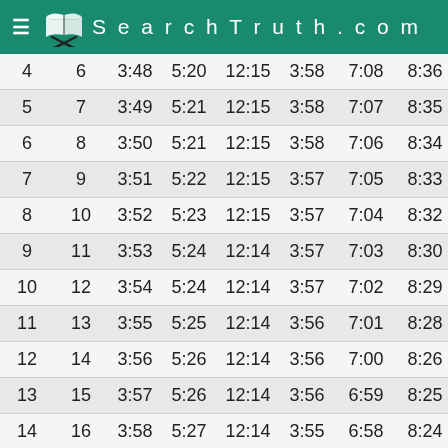SearchTruth.com
| 4 | 6 | 3:48 | 5:20 | 12:15 | 3:58 | 7:08 | 8:36 |
| 5 | 7 | 3:49 | 5:21 | 12:15 | 3:58 | 7:07 | 8:35 |
| 6 | 8 | 3:50 | 5:21 | 12:15 | 3:58 | 7:06 | 8:34 |
| 7 | 9 | 3:51 | 5:22 | 12:15 | 3:57 | 7:05 | 8:33 |
| 8 | 10 | 3:52 | 5:23 | 12:15 | 3:57 | 7:04 | 8:32 |
| 9 | 11 | 3:53 | 5:24 | 12:14 | 3:57 | 7:03 | 8:30 |
| 10 | 12 | 3:54 | 5:24 | 12:14 | 3:57 | 7:02 | 8:29 |
| 11 | 13 | 3:55 | 5:25 | 12:14 | 3:56 | 7:01 | 8:28 |
| 12 | 14 | 3:56 | 5:26 | 12:14 | 3:56 | 7:00 | 8:26 |
| 13 | 15 | 3:57 | 5:26 | 12:14 | 3:56 | 6:59 | 8:25 |
| 14 | 16 | 3:58 | 5:27 | 12:14 | 3:55 | 6:58 | 8:24 |